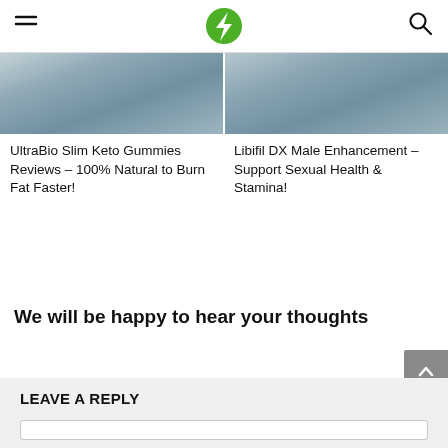Navigation bar with hamburger menu, green bolt logo, and search icon
[Figure (photo): Two cropped images side by side showing person(s), partially visible at top]
UltraBio Slim Keto Gummies Reviews – 100% Natural to Burn Fat Faster!
Libifil DX Male Enhancement – Support Sexual Health & Stamina!
We will be happy to hear your thoughts
LEAVE A REPLY